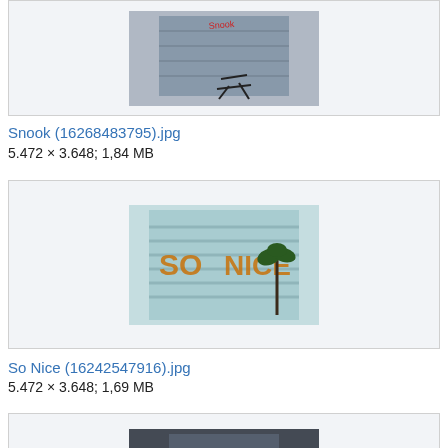[Figure (photo): Photo of a storefront shutter with graffiti reading 'Snook' and an overturned chair on the pavement below]
Snook (16268483795).jpg
5.472 × 3.648; 1,84 MB
[Figure (photo): Photo of a striped metal shutter with graffiti reading 'So Nice' with a palm tree design]
So Nice (16242547916).jpg
5.472 × 3.648; 1,69 MB
[Figure (photo): Partially visible photo at the bottom of the page]